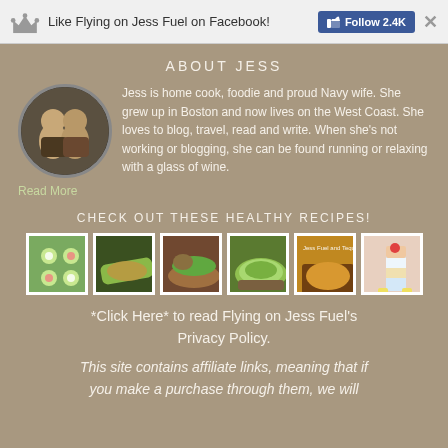Like Flying on Jess Fuel on Facebook! Follow 2.4K ×
ABOUT JESS
Jess is home cook, foodie and proud Navy wife. She grew up in Boston and now lives on the West Coast. She loves to blog, travel, read and write. When she's not working or blogging, she can be found running or relaxing with a glass of wine. Read More
CHECK OUT THESE HEALTHY RECIPES!
[Figure (photo): Six food recipe thumbnail images in a row]
*Click Here* to read Flying on Jess Fuel's Privacy Policy.
This site contains affiliate links, meaning that if you make a purchase through them, we will